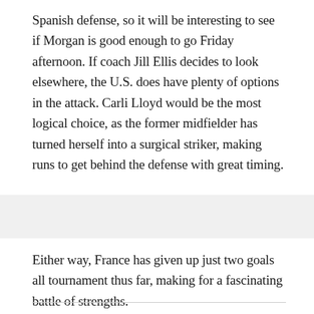Spanish defense, so it will be interesting to see if Morgan is good enough to go Friday afternoon. If coach Jill Ellis decides to look elsewhere, the U.S. does have plenty of options in the attack. Carli Lloyd would be the most logical choice, as the former midfielder has turned herself into a surgical striker, making runs to get behind the defense with great timing.
Either way, France has given up just two goals all tournament thus far, making for a fascinating battle of strengths.